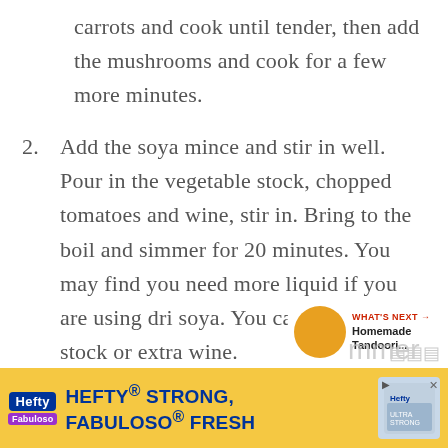carrots and cook until tender, then add the mushrooms and cook for a few more minutes.
2. Add the soya mince and stir in well. Pour in the vegetable stock, chopped tomatoes and wine, stir in. Bring to the boil and simmer for 20 minutes. You may find you need more liquid if you are using dri soya. You can add extra stock or extra wine.
[Figure (screenshot): Share icon overlay in bottom-right area of text]
[Figure (screenshot): What's Next panel showing Homemade Tandoori... with orange circle image]
[Figure (screenshot): Hefty Strong, Fabuloso Fresh advertisement banner at bottom of page]